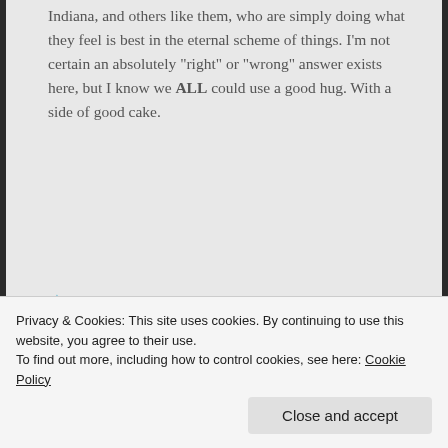Indiana, and others like them, who are simply doing what they feel is best in the eternal scheme of things. I'm not certain an absolutely “right” or “wrong” answer exists here, but I know we ALL could use a good hug. With a side of good cake.
★ Liked by 2 people
Barbara Kennedy says:
April 5, 2015 at 12:15 am
Hugs!
Privacy & Cookies: This site uses cookies. By continuing to use this website, you agree to their use.
To find out more, including how to control cookies, see here: Cookie Policy
Close and accept